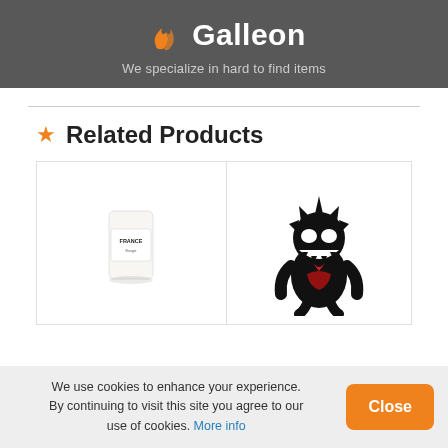Galleon — We specialize in hard to find items
★ Related Products
[Figure (photo): Two product cards side by side: left card shows a white cylindrical candle labeled FRANCE; right card shows a black Venom (Marvel) Funko Pop vinyl figure with red accents]
We use cookies to enhance your experience. By continuing to visit this site you agree to our use of cookies. More info